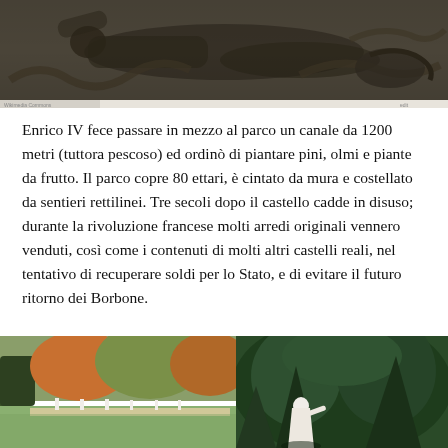[Figure (photo): Bronze relief sculpture showing a reclining nude figure with decorative elements, dark patina]
Enrico IV fece passare in mezzo al parco un canale da 1200 metri (tuttora pescoso) ed ordinò di piantare pini, olmi e piante da frutto. Il parco copre 80 ettari, è cintato da mura e costellato da sentieri rettilinei. Tre secoli dopo il castello cadde in disuso; durante la rivoluzione francese molti arredi originali vennero venduti, così come i contenuti di molti altri castelli reali, nel tentativo di recuperare soldi per lo Stato, e di evitare il futuro ritorno dei Borbone.
[Figure (photo): Left: Park garden scene with tall trees, trimmed hedges, and statues along a path in autumn colors]
[Figure (photo): Right: Dense green conifer trees with a white statue visible in the foreground]